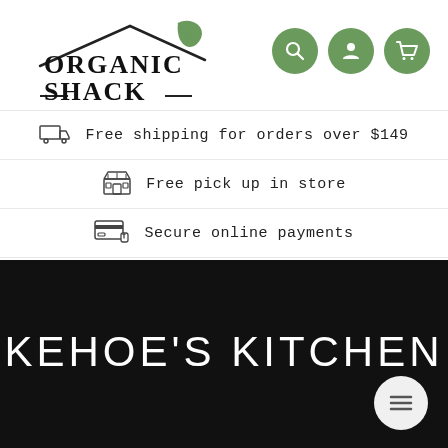[Figure (logo): Organic Shack logo with roof/house outline and green leaf, black serif text]
[Figure (infographic): Three green circle icon buttons: search, user account, and shopping cart]
Free shipping for orders over $149
Free pick up in store
Secure online payments
KEHOE'S KITCHEN
[Figure (other): White circular hamburger menu button in bottom-right of black section]